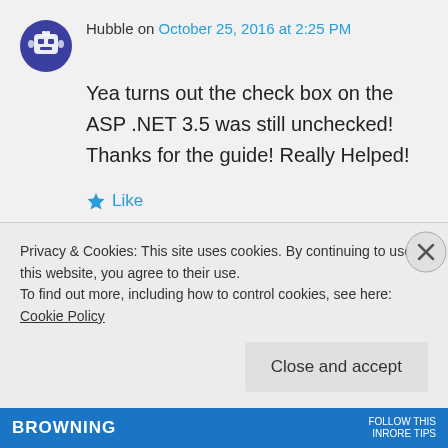Hubble on October 25, 2016 at 2:25 PM
Yea turns out the check box on the ASP .NET 3.5 was still unchecked! Thanks for the guide! Really Helped!
Like
Privacy & Cookies: This site uses cookies. By continuing to use this website, you agree to their use.
To find out more, including how to control cookies, see here: Cookie Policy
Close and accept